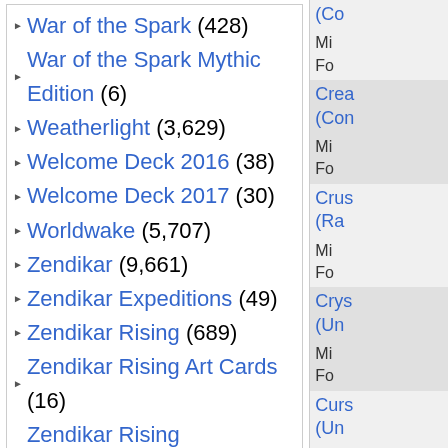War of the Spark (428)
War of the Spark Mythic Edition (6)
Weatherlight (3,629)
Welcome Deck 2016 (38)
Welcome Deck 2017 (30)
Worldwake (5,707)
Zendikar (9,661)
Zendikar Expeditions (49)
Zendikar Rising (689)
Zendikar Rising Art Cards (16)
Zendikar Rising Expeditions (53)
Recently Added
Collector's Edition
Quick Links
Store List
Mailing
Enter your e-mail and click 'Subscribe' to join our mailing list:
(Con...)
Min
Fo
Crea...
(Con...)
Min
Fo
Crus...
(Rar...)
Min
Fo
Crys...
(Unc...)
Min
Fo
Curs...
(Unc...)
Min
Fo